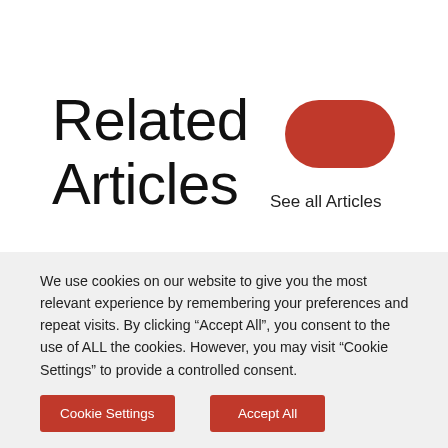Related Articles
[Figure (illustration): Red/orange rounded oval shape (pill/button shape)]
See all Articles
We use cookies on our website to give you the most relevant experience by remembering your preferences and repeat visits. By clicking “Accept All”, you consent to the use of ALL the cookies. However, you may visit “Cookie Settings” to provide a controlled consent.
Cookie Settings
Accept All